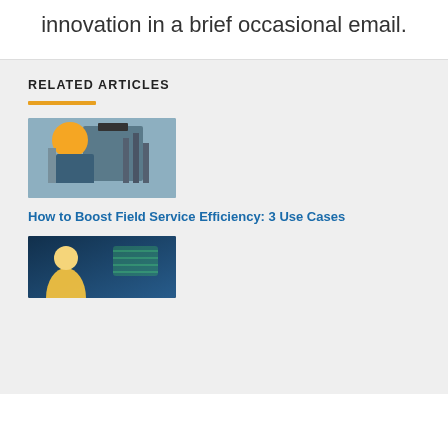innovation in a brief occasional email.
RELATED ARTICLES
[Figure (photo): Worker in yellow hard hat operating industrial equipment in a factory setting]
How to Boost Field Service Efficiency: 3 Use Cases
[Figure (photo): Woman in yellow hard hat smiling, with digital overlay graphics in background]